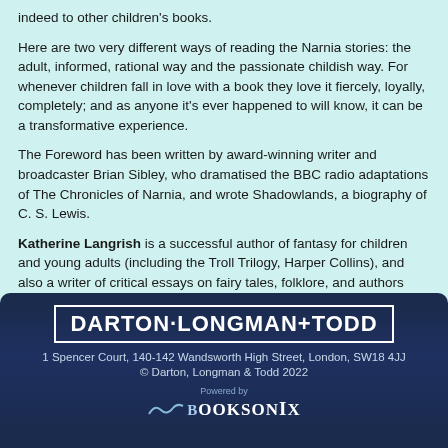indeed to other children's books.
Here are two very different ways of reading the Narnia stories: the adult, informed, rational way and the passionate childish way. For whenever children fall in love with a book they love it fiercely, loyally, completely; and as anyone it's ever happened to will know, it can be a transformative experience.
The Foreword has been written by award-winning writer and broadcaster Brian Sibley, who dramatised the BBC radio adaptations of The Chronicles of Narnia, and wrote Shadowlands, a biography of C. S. Lewis.
Katherine Langrish is a successful author of fantasy for children and young adults (including the Troll Trilogy, Harper Collins), and also a writer of critical essays on fairy tales, folklore, and authors such as Mervyn Peake and Alan Garner.
DARTON·LONGMAN+TODD
1 Spencer Court, 140-142 Wandsworth High Street, London, SW18 4JJ
© Darton, Longman & Todd 2022
Powered by
BOOKSONIX